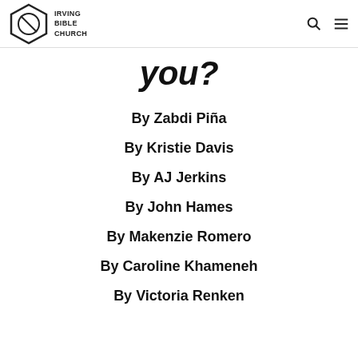Irving Bible Church
you?
By Zabdi Piña
By Kristie Davis
By AJ Jerkins
By John Hames
By Makenzie Romero
By Caroline Khameneh
By Victoria Renken